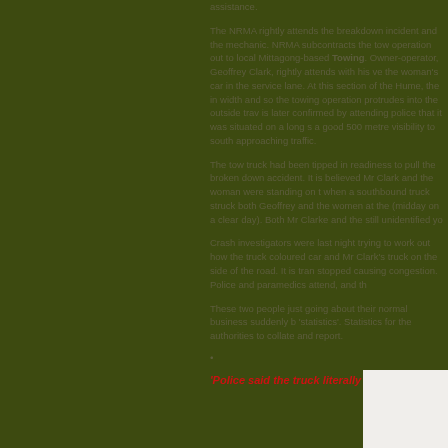assistance.
The NRMA rightly attends the breakdown incident and the mechanic. NRMA subcontracts the tow operation out to local Mittagong-based Towing.  Owner-operator, Geoffrey Clark, rightly attends with his vehicle. the woman's car in the service lane.  At this section of the Hume, the in width and so the towing operation protrudes into the outside trav is later confirmed by attending police that it was situated on a long s a good 500 metre visibility to south approaching traffic.
The tow truck had been tipped in readiness to pull the broken down accident.  It is believed Mr Clark and the woman were standing on t when a southbound truck struck both Geoffrey and the woman at the (midday on a clear day). Both Mr Clarke and the still unidentified yo
Crash investigators were last night trying to work out how the truck coloured car and Mr Clark's truck on the side of the road.   It is tran stopped causing congestion.  Police and paramedics attend, and th
These two people just going about their normal business suddenly b 'statistics'.  Statistics for the authorities to collate and report.
•
'Police said the truck literally cleaned up